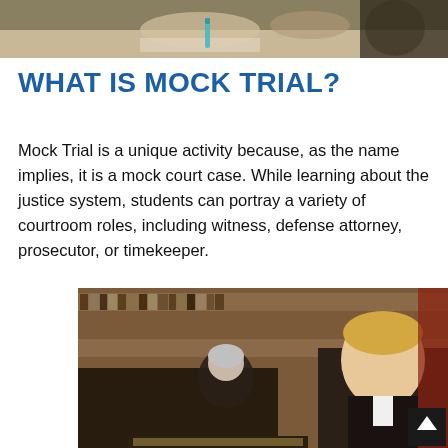[Figure (photo): Top portion of a photo showing hands writing/working at a desk, partially cropped at the top of the page]
WHAT IS MOCK TRIAL?
Mock Trial is a unique activity because, as the name implies, it is a mock court case. While learning about the justice system, students can portray a variety of courtroom roles, including witness, defense attorney, prosecutor, or timekeeper.
[Figure (photo): Photo of a young blonde male student speaking at a courtroom podium, with a female judge in robes seated behind him and law books on shelves in the background]